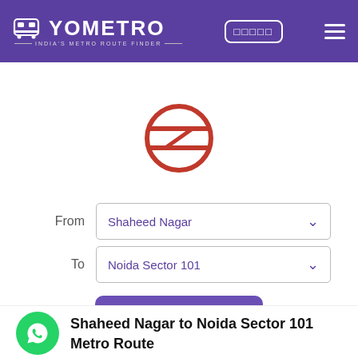YOMETRO — India's Metro Route Finder
[Figure (logo): Delhi Metro rail logo — red circle with horizontal lines and a Z-shaped element inside]
From   Shaheed Nagar
To   Noida Sector 101
• Search Route
Shaheed Nagar to Noida Sector 101 Metro Route